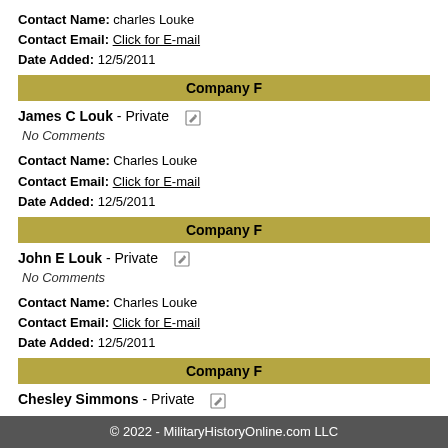Contact Name: charles Louke
Contact Email: Click for E-mail
Date Added: 12/5/2011
Company F
James C Louk - Private
No Comments
Contact Name: Charles Louke
Contact Email: Click for E-mail
Date Added: 12/5/2011
Company F
John E Louk - Private
No Comments
Contact Name: Charles Louke
Contact Email: Click for E-mail
Date Added: 12/5/2011
Company F
Chesley Simmons - Private
© 2022 - MilitaryHistoryOnline.com LLC